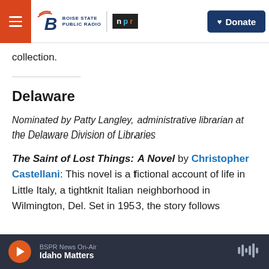Boise State Public Radio | NPR | Donate
collection.
Delaware
Nominated by Patty Langley, administrative librarian at the Delaware Division of Libraries
The Saint of Lost Things: A Novel by Christopher Castellani: This novel is a fictional account of life in Little Italy, a tightknit Italian neighborhood in Wilmington, Del. Set in 1953, the story follows
BSPR News On-Air | Idaho Matters